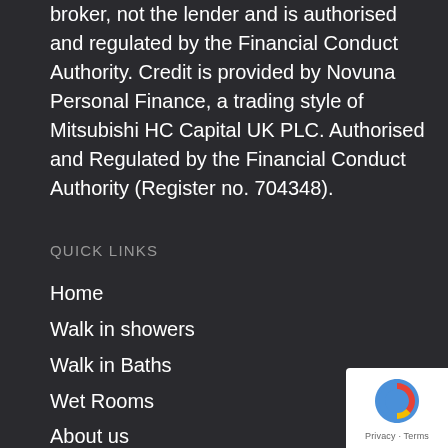broker, not the lender and is authorised and regulated by the Financial Conduct Authority. Credit is provided by Novuna Personal Finance, a trading style of Mitsubishi HC Capital UK PLC. Authorised and Regulated by the Financial Conduct Authority (Register no. 704348).
QUICK LINKS
Home
Walk in showers
Walk in Baths
Wet Rooms
About us
Our Work
[Figure (other): reCAPTCHA badge with circular arrow logo and Privacy · Terms text]